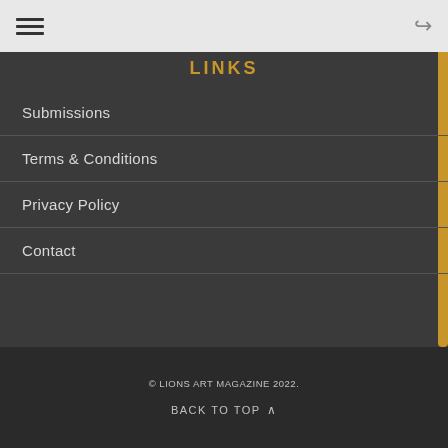LINKS
Submissions
Terms & Conditions
Privacy Policy
Contact
© LIONS ART MAGAZINE 2022.
BACK TO TOP ^